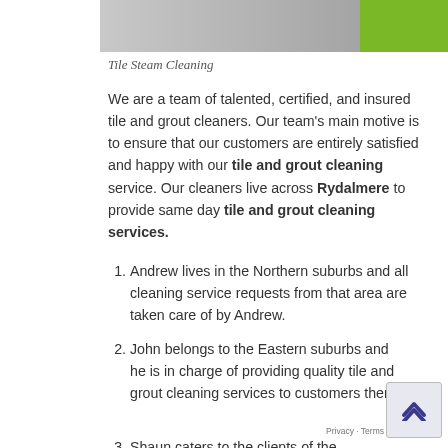[Figure (photo): Tile steam cleaning image with gray surface and green banner overlay in top right]
Tile Steam Cleaning
We are a team of talented, certified, and insured tile and grout cleaners. Our team's main motive is to ensure that our customers are entirely satisfied and happy with our tile and grout cleaning service. Our cleaners live across Rydalmere to provide same day tile and grout cleaning services.
Andrew lives in the Northern suburbs and all cleaning service requests from that area are taken care of by Andrew.
John belongs to the Eastern suburbs and he is in charge of providing quality tile and grout cleaning services to customers there.
Shaun caters to the clients of the…